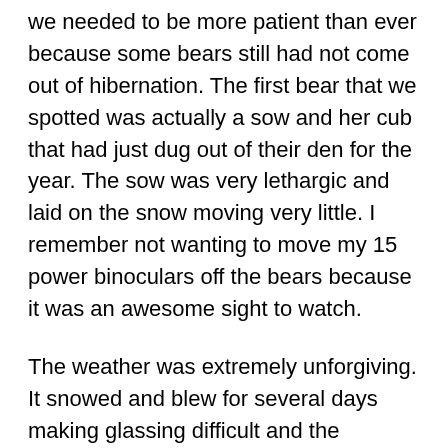we needed to be more patient than ever because some bears still had not come out of hibernation. The first bear that we spotted was actually a sow and her cub that had just dug out of their den for the year. The sow was very lethargic and laid on the snow moving very little. I remember not wanting to move my 15 power binoculars off the bears because it was an awesome sight to watch.
The weather was extremely unforgiving. It snowed and blew for several days making glassing difficult and the conditions wet and miserable.